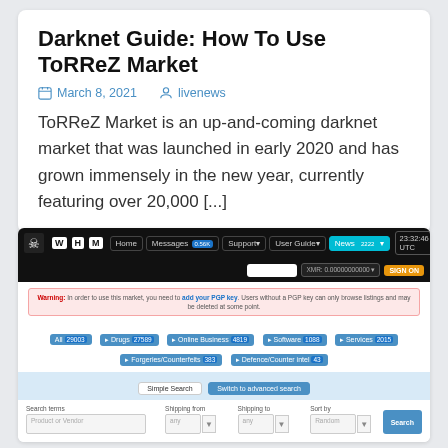Darknet Guide: How To Use ToRReZ Market
March 8, 2021  livenews
ToRReZ Market is an up-and-coming darknet market that was launched in early 2020 and has grown immensely in the new year, currently featuring over 20,000 [...]
[Figure (screenshot): Screenshot of WHM (White House Market) darknet marketplace interface showing navigation bar, warning about PGP key, category buttons (All 29003, Drugs 27589, Online Business 4819, Software 1088, Services 2015, Forgeries/Counterfeits 383, Defence/Counter intel 43), and a search section with Simple Search and Switch to advanced search tabs, plus search fields for Search terms, Shipping from, Shipping to, Sort by, and a Search button.]